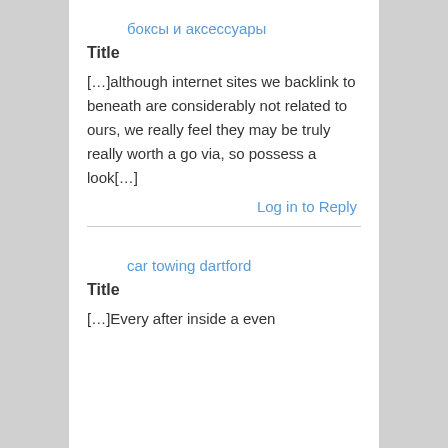боксы и аксессуары
Title
[…]although internet sites we backlink to beneath are considerably not related to ours, we really feel they may be truly really worth a go via, so possess a look[…]
Log in to Reply
car towing dartford
Title
[…]Every after inside a even